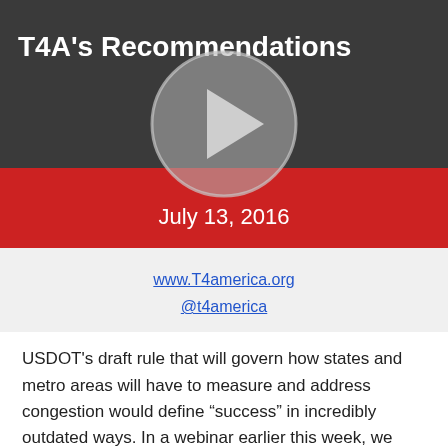[Figure (screenshot): Video thumbnail showing 'T4A's Recommendations' title on dark gray and red background with a play button overlay, dated July 13, 2016]
www.T4america.org
@t4america
USDOT's draft rule that will govern how states and metro areas will have to measure and address congestion would define “success” in incredibly outdated ways. In a webinar earlier this week, we discussed better ways to measure congestion and a proposal we’re sending to USDOT.
Continue Reading...